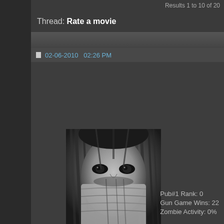Results 1 to 10 of 20
Thread: Rate a movie
02-06-2010   02:26 PM
[Figure (photo): Black and white portrait of a person with face partially covered by cloth/bandage wrapping, with dramatic shadow detail]
KaMiKaZi_NiNjA •
IBIS Specialist
Progress 10%
Pub#1 Rank: 0
Gun Game Wins: 22
Zombie Activity: 0%